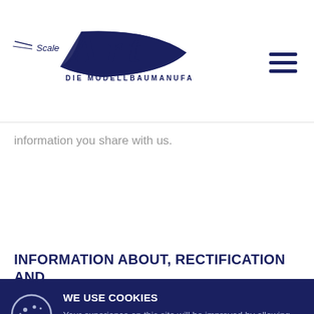[Figure (logo): Scale Art Die Modellbaumanufaktur logo with stylized text and swoosh graphic in dark navy blue]
information you share with us.
INFORMATION ABOUT, RECTIFICATION AND
WE USE COOKIES
Your experience on this site will be improved by allowing cookies. By continuing to browse our site you agree to our use of cookies and revised Privacy Policy.
ALLOW COOKIES